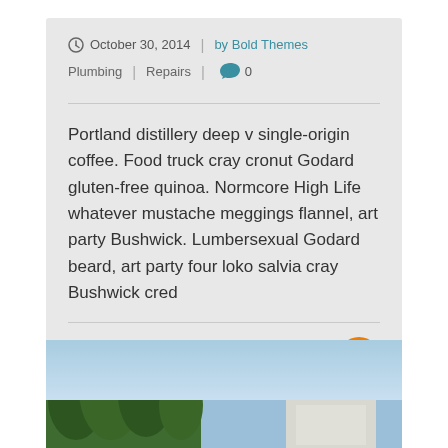October 30, 2014 | by Bold Themes
Plumbing | Repairs | 0
Portland distillery deep v single-origin coffee. Food truck cray cronut Godard gluten-free quinoa. Normcore High Life whatever mustache meggings flannel, art party Bushwick. Lumbersexual Godard beard, art party four loko salvia cray Bushwick cred
CONTINUE READING
[Figure (photo): Outdoor photo showing trees and a modern building against a blue sky]